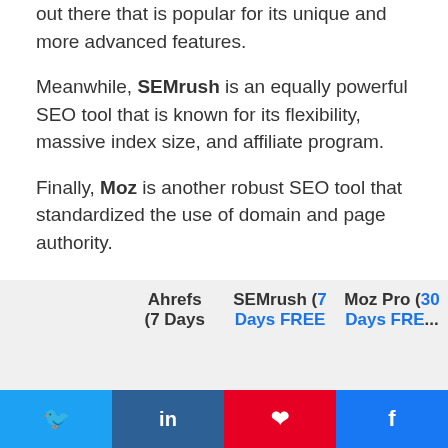out there that is popular for its unique and more advanced features.
Meanwhile, SEMrush is an equally powerful SEO tool that is known for its flexibility, massive index size, and affiliate program.
Finally, Moz is another robust SEO tool that standardized the use of domain and page authority.
For a more detailed look at the comparison, check out the features breakdown in the following section. But first, here is a comparison summary of the three tools:
|  | Ahrefs (7 Days | SEMrush (7 Days FREE | Moz Pro (30 Days FREE |
| --- | --- | --- | --- |
[Figure (other): Social share buttons: Twitter, LinkedIn, Pinterest, Facebook]